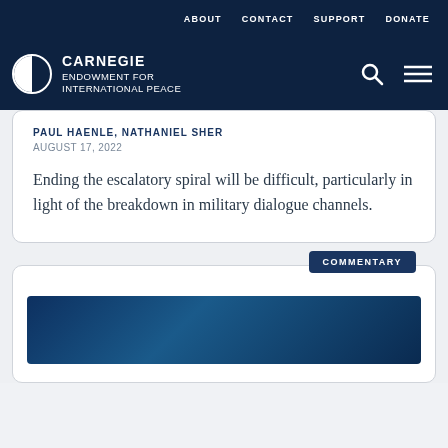ABOUT   CONTACT   SUPPORT   DONATE
CARNEGIE ENDOWMENT FOR INTERNATIONAL PEACE
PAUL HAENLE, NATHANIEL SHER
AUGUST 17, 2022
Ending the escalatory spiral will be difficult, particularly in light of the breakdown in military dialogue channels.
COMMENTARY